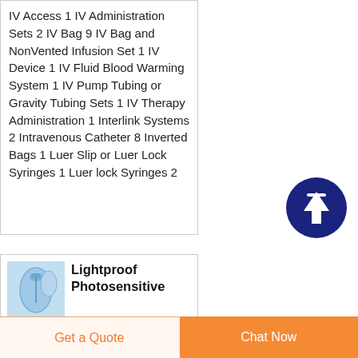IV Access 1 IV Administration Sets 2 IV Bag 9 IV Bag and NonVented Infusion Set 1 IV Device 1 IV Fluid Blood Warming System 1 IV Pump Tubing or Gravity Tubing Sets 1 IV Therapy Administration 1 Interlink Systems 2 Intravenous Catheter 8 Inverted Bags 1 Luer Slip or Luer Lock Syringes 1 Luer lock Syringes 2
[Figure (illustration): Dark navy blue circular button with white upward arrow icon, used as a scroll-to-top button]
[Figure (photo): Small thumbnail photo of a lightproof photosensitive IV administration bag product in blue packaging]
Lightproof Photosensitive IV Administration
Get a Quote
Chat Now